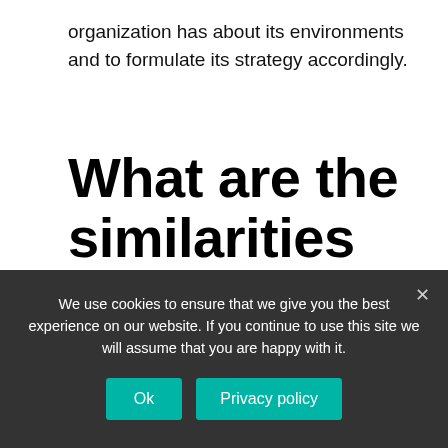organization has about its environments and to formulate its strategy accordingly.
What are the similarities and differences between strengths and opportunities?
We use cookies to ensure that we give you the best experience on our website. If you continue to use this site we will assume that you are happy with it.